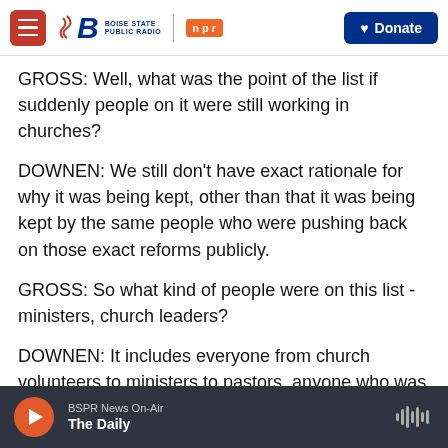Boise State Public Radio | NPR | Donate
GROSS: Well, what was the point of the list if suddenly people on it were still working in churches?
DOWNEN: We still don't have exact rationale for why it was being kept, other than that it was being kept by the same people who were pushing back on those exact reforms publicly.
GROSS: So what kind of people were on this list - ministers, church leaders?
DOWNEN: It includes everyone from church volunteers to ministers to pastors, anyone who was
BSPR News On-Air
The Daily